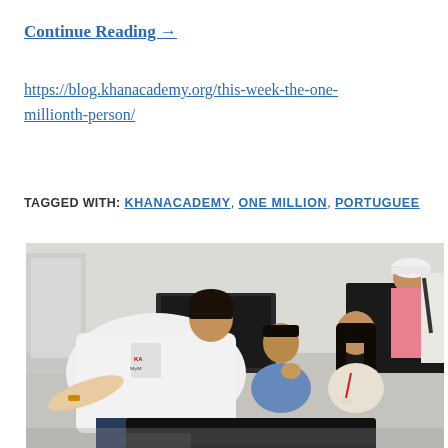Continue Reading →
https://blog.khanacademy.org/this-week-the-one-millionth-person/
TAGGED WITH: KHANACADEMY, ONE MILLION, PORTUGUEE
[Figure (photo): A person in a white shirt leans over two seated people at computers in what appears to be a classroom or computer lab setting. Additional people are visible in the background.]